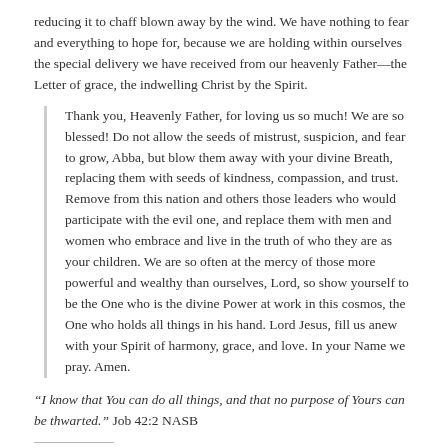reducing it to chaff blown away by the wind. We have nothing to fear and everything to hope for, because we are holding within ourselves the special delivery we have received from our heavenly Father—the Letter of grace, the indwelling Christ by the Spirit.
Thank you, Heavenly Father, for loving us so much! We are so blessed! Do not allow the seeds of mistrust, suspicion, and fear to grow, Abba, but blow them away with your divine Breath, replacing them with seeds of kindness, compassion, and trust. Remove from this nation and others those leaders who would participate with the evil one, and replace them with men and women who embrace and live in the truth of who they are as your children. We are so often at the mercy of those more powerful and wealthy than ourselves, Lord, so show yourself to be the One who is the divine Power at work in this cosmos, the One who holds all things in his hand. Lord Jesus, fill us anew with your Spirit of harmony, grace, and love. In your Name we pray. Amen.
“I know that You can do all things, and that no purpose of Yours can be thwarted.” Job 42:2 NASB
Share this: